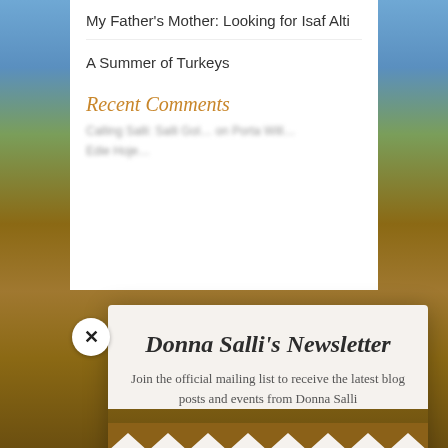My Father's Mother: Looking for Isaf Alti
A Summer of Turkeys
Recent Comments
Donna Salli's Newsletter
Join the official mailing list to receive the latest blog posts and events from Donna Salli
Email
SUBSCRIBE!